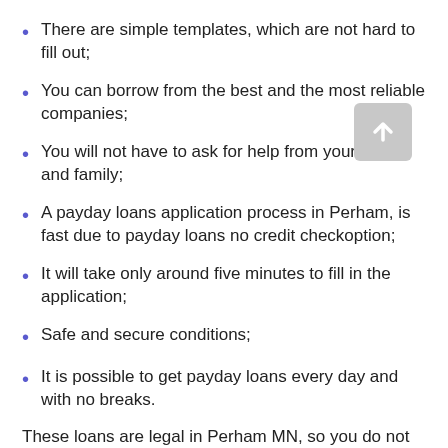There are simple templates, which are not hard to fill out;
You can borrow from the best and the most reliable companies;
You will not have to ask for help from your friends and family;
A payday loans application process in Perham, is fast due to payday loans no credit checkoption;
It will take only around five minutes to fill in the application;
Safe and secure conditions;
It is possible to get payday loans every day and with no breaks.
These loans are legal in Perham MN, so you do not have to